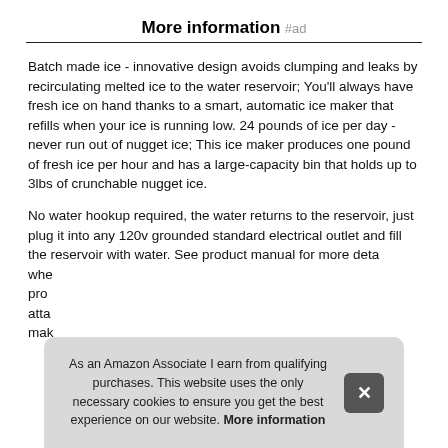More information #ad
Batch made ice - innovative design avoids clumping and leaks by recirculating melted ice to the water reservoir; You'll always have fresh ice on hand thanks to a smart, automatic ice maker that refills when your ice is running low. 24 pounds of ice per day - never run out of nugget ice; This ice maker produces one pound of fresh ice per hour and has a large-capacity bin that holds up to 3lbs of crunchable nugget ice.
No water hookup required, the water returns to the reservoir, just plug it into any 120v grounded standard electrical outlet and fill the reservoir with water. See product manual for more deta... whe... pro... atta... mak...
As an Amazon Associate I earn from qualifying purchases. This website uses the only necessary cookies to ensure you get the best experience on our website. More information